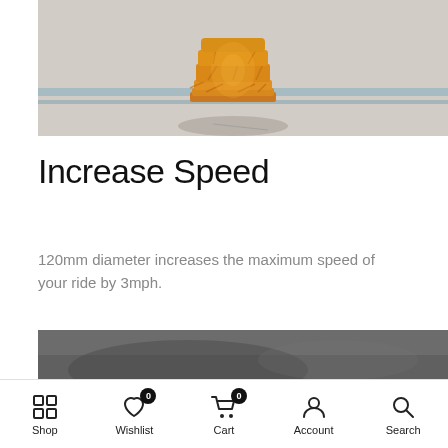[Figure (photo): Close-up photo of an amber/orange translucent wheel or puck-shaped object sitting on a light concrete surface with blue painted lines, casting a shadow. The object has a ribbed or segmented texture.]
Increase Speed
120mm diameter increases the maximum speed of your ride by 3mph.
[Figure (photo): Partial photo showing a dark gray/black surface, likely asphalt or a skate surface, with subtle texture visible.]
Shop   Wishlist   Cart   Account   Search